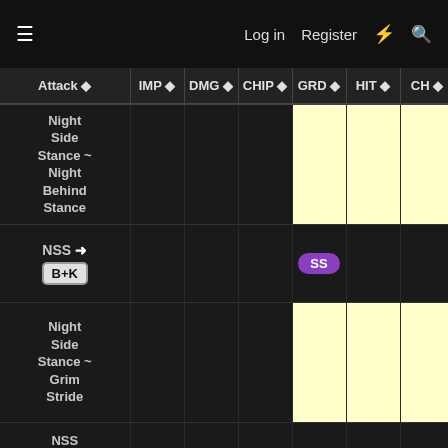Log in  Register
| Attack ⬧ | IMP ⬧ | DMG ⬧ | CHIP ⬧ | GRD ⬧ | HIT ⬧ | CH ⬧ | GB ⬧ |
| --- | --- | --- | --- | --- | --- | --- | --- |
| Night Side Stance ~ Night Behind Stance |  |  |  |  |  |  |  |
| NSS → B+K |  |  |  | SS |  |  |  |
| Night Side Stance ~ Grim Stride |  |  |  |  |  |  |  |
| NSS ... |  |  |  |  |  |  |  |